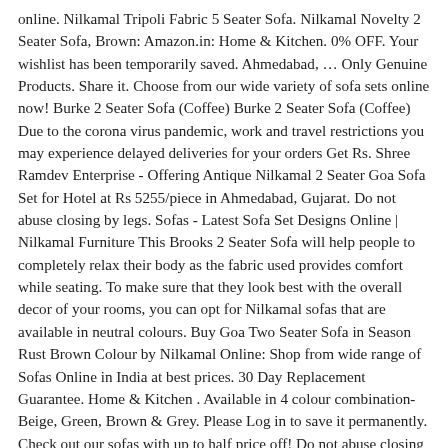online. Nilkamal Tripoli Fabric 5 Seater Sofa. Nilkamal Novelty 2 Seater Sofa, Brown: Amazon.in: Home & Kitchen. 0% OFF. Your wishlist has been temporarily saved. Ahmedabad, … Only Genuine Products. Share it. Choose from our wide variety of sofa sets online now! Burke 2 Seater Sofa (Coffee) Burke 2 Seater Sofa (Coffee) Due to the corona virus pandemic, work and travel restrictions you may experience delayed deliveries for your orders Get Rs. Shree Ramdev Enterprise - Offering Antique Nilkamal 2 Seater Goa Sofa Set for Hotel at Rs 5255/piece in Ahmedabad, Gujarat. Do not abuse closing by legs. Sofas - Latest Sofa Set Designs Online | Nilkamal Furniture This Brooks 2 Seater Sofa will help people to completely relax their body as the fabric used provides comfort while seating. To make sure that they look best with the overall decor of your rooms, you can opt for Nilkamal sofas that are available in neutral colours. Buy Goa Two Seater Sofa in Season Rust Brown Colour by Nilkamal Online: Shop from wide range of Sofas Online in India at best prices. 30 Day Replacement Guarantee. Home & Kitchen . Available in 4 colour combination-Beige, Green, Brown & Grey. Please Log in to save it permanently. Check out our sofas with up to half price off! Do not abuse closing by legs. Finish Color - Brown. We will provide replacement of particular damaged parts only or entire product in case of non avaiablity of damaged parts. @home by Nilkamal Zella Fabric 2 Seater Sofa at best prices with FREE shipping & cash on delivery. @home by Nilkamal Remo Leather 2 Seater…